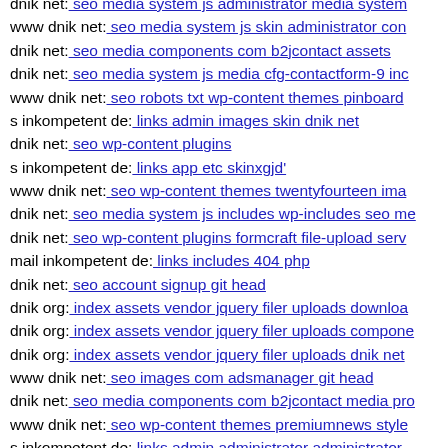dnik net: seo media system js administrator media system
www dnik net: seo media system js skin administrator con
dnik net: seo media components com b2jcontact assets
dnik net: seo media system js media cfg-contactform-9 inc
www dnik net: seo robots txt wp-content themes pinboard
s inkompetent de: links admin images skin dnik net
dnik net: seo wp-content plugins
s inkompetent de: links app etc skinxgjd'
www dnik net: seo wp-content themes twentyfourteen ima
dnik net: seo media system js includes wp-includes seo me
dnik net: seo wp-content plugins formcraft file-upload serv
mail inkompetent de: links includes 404 php
dnik net: seo account signup git head
dnik org: index assets vendor jquery filer uploads downloa
dnik org: index assets vendor jquery filer uploads compone
dnik org: index assets vendor jquery filer uploads dnik net
www dnik net: seo images com adsmanager git head
dnik net: seo media components com b2jcontact media pro
www dnik net: seo wp-content themes premiumnews style
s inkompetent de: links admin administrator administrator